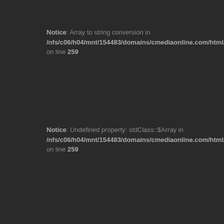Notice: Array to string conversion in /nfs/c06/h04/mnt/154483/domains/cmediaonline.com/html/lib... on line 259
Notice: Undefined property: stdClass::$Array in /nfs/c06/h04/mnt/154483/domains/cmediaonline.com/html/lib... on line 259
Notice: Array to string conversion in /nfs/c06/h04/mnt/154483/domains/cmediaonline.com/html/lib... on line 259
Notice: Undefined property: stdClass::$Array in /nfs/c06/h04/mnt/154483/domains/cmediaonline.com/html/lib... on line 259
Notice: Array to string conversion in /nfs/c06/h04/mnt/154483/domains/cmediaonline.com/html/lib... on line 259
Notice: Undefined property: stdClass::$Array in